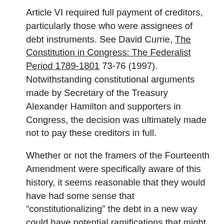Article VI required full payment of creditors, particularly those who were assignees of debt instruments. See David Currie, The Constitution in Congress: The Federalist Period 1789-1801 73-76 (1997). Notwithstanding constitutional arguments made by Secretary of the Treasury Alexander Hamilton and supporters in Congress, the decision was ultimately made not to pay these creditors in full.
Whether or not the framers of the Fourteenth Amendment were specifically aware of this history, it seems reasonable that they would have had some sense that “constitutionalizing” the debt in a new way could have potential ramifications that might be difficult to appreciate fully at the time. The use of the term “validity” therefore suggests an intent to claim the security of a pre-existing legal status (while realizing the core objective of ensuring that Civil War